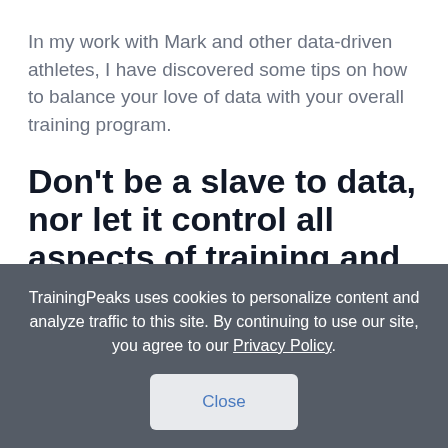In my work with Mark and other data-driven athletes, I have discovered some tips on how to balance your love of data with your overall training program.
Don't be a slave to data, nor let it control all aspects of training and racing.
TrainingPeaks uses cookies to personalize content and analyze traffic to this site. By continuing to use our site, you agree to our Privacy Policy.
Close